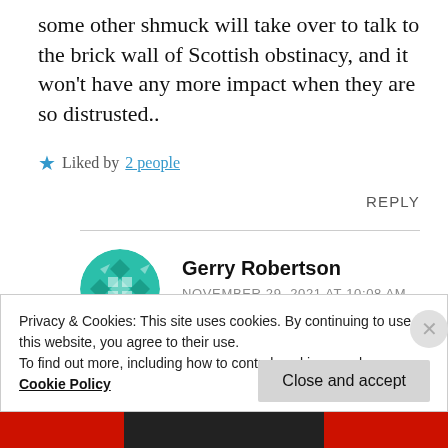some other shmuck will take over to talk to the brick wall of Scottish obstinacy, and it won't have any more impact when they are so distrusted..
★ Liked by 2 people
REPLY
Gerry Robertson
NOVEMBER 29, 2021 AT 10:08 AM
Privacy & Cookies: This site uses cookies. By continuing to use this website, you agree to their use.
To find out more, including how to control cookies, see here:
Cookie Policy
Close and accept